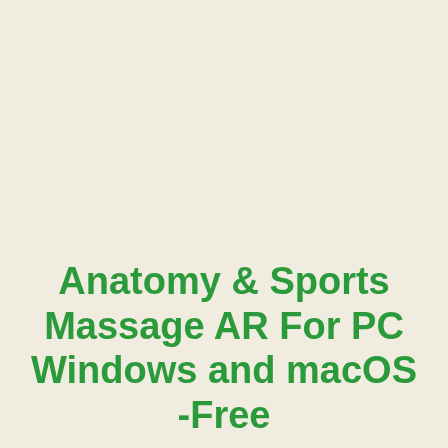Anatomy & Sports Massage AR For PC Windows and macOS -Free